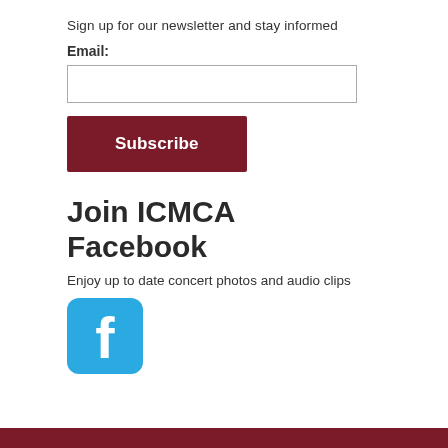Sign up for our newsletter and stay informed
Email:
[Figure (other): Email input text field]
[Figure (other): Subscribe button (dark red)]
Join ICMCA Facebook
Enjoy up to date concert photos and audio clips
[Figure (logo): Facebook logo icon with cyan/blue rounded square background and white 'f' symbol]